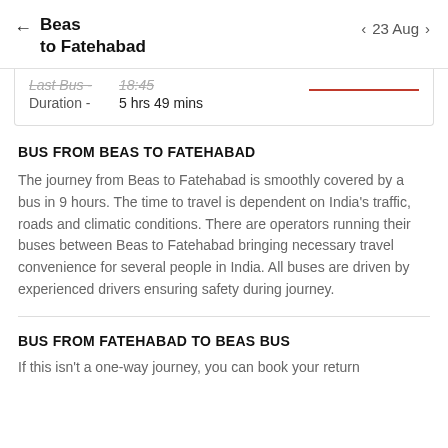Beas to Fatehabad  ←  23 Aug
Last Bus -  18:45
Duration -  5 hrs 49 mins
BUS FROM BEAS TO FATEHABAD
The journey from Beas to Fatehabad is smoothly covered by a bus in 9 hours. The time to travel is dependent on India's traffic, roads and climatic conditions. There are operators running their buses between Beas to Fatehabad bringing necessary travel convenience for several people in India. All buses are driven by experienced drivers ensuring safety during journey.
BUS FROM FATEHABAD TO BEAS BUS
If this isn't a one-way journey, you can book your return